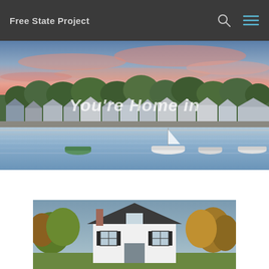Free State Project
[Figure (photo): Aerial/waterfront view of a New England coastal town at sunset with pink and purple sky, boats on the water, and colonial-style houses along the shore. Text overlay reads 'You're Home in']
[Figure (photo): Aerial view of a white New England colonial house with dark shutters surrounded by autumn trees]